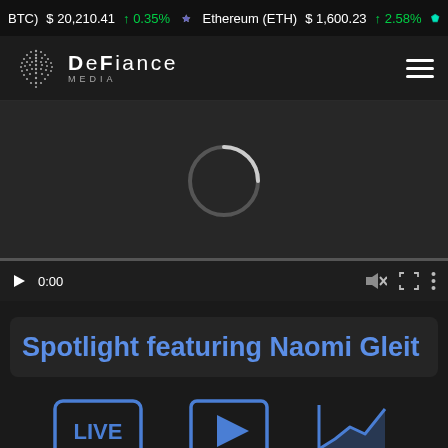BTC  $20,210.41  ↑0.35%  Ethereum (ETH)  $1,600.23  ↑2.58%
[Figure (logo): DeFiance Media logo with dot-matrix sphere graphic and nav hamburger menu]
[Figure (screenshot): Video player showing loading spinner (C-shaped arc), play button, 0:00 timestamp, mute icon, fullscreen icon, more options icon, and progress bar]
Spotlight featuring Naomi Gleit
[Figure (infographic): Three navigation icons: LIVE (TV icon), Play (video player icon), Chart/analytics icon — all in blue outline style]